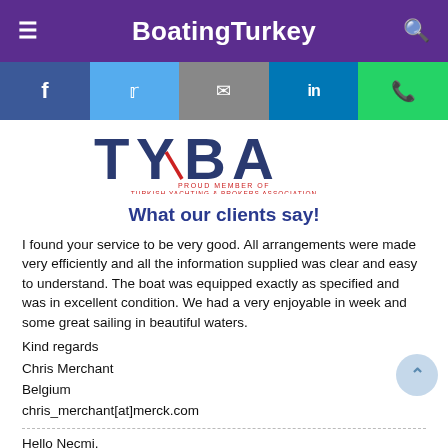BoatingTurkey
[Figure (logo): TYBA - Proud Member of Turkish Yachting & Brokers Association logo]
What our clients say!
I found your service to be very good. All arrangements were made very efficiently and all the information supplied was clear and easy to understand. The boat was equipped exactly as specified and was in excellent condition. We had a very enjoyable in week and some great sailing in beautiful waters.
Kind regards
Chris Merchant
Belgium
chris_merchant[at]merck.com
Hello Necmi,
We would like to give you some feedback on our experience